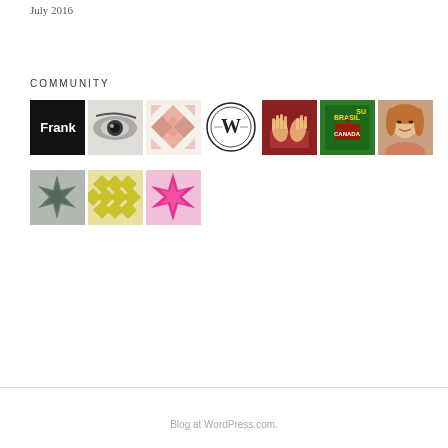July 2016
COMMUNITY
[Figure (photo): Grid of community member avatars: row 1 contains 7 avatar images (Frank black logo, eye close-up, geometric pink pattern, W circle logo, hands on keyboard, Brazil/Canada flags graphic, woman portrait); row 2 contains 3 avatar images (gray geometric pattern, yellow-green geometric pattern, magenta geometric pattern)]
Blog at WordPress.com.